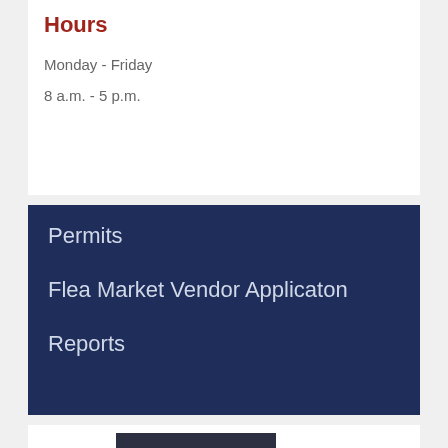Hours
Monday - Friday
8 a.m. - 5 p.m.
Permits
Flea Market Vendor Applicaton
Reports
[Figure (photo): Partial photo of a person's face, dark tones, visible at bottom of page]